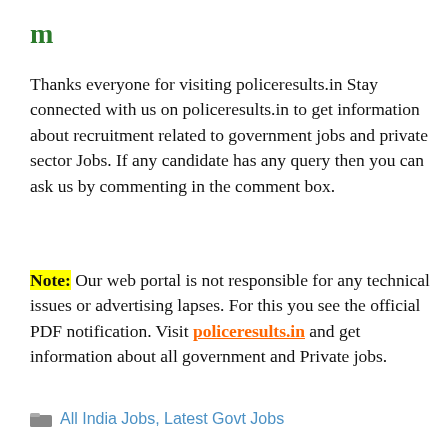m
Thanks everyone for visiting policeresults.in Stay connected with us on policeresults.in to get information about recruitment related to government jobs and private sector Jobs. If any candidate has any query then you can ask us by commenting in the comment box.
Note: Our web portal is not responsible for any technical issues or advertising lapses. For this you see the official PDF notification. Visit policeresults.in and get information about all government and Private jobs.
All India Jobs, Latest Govt Jobs